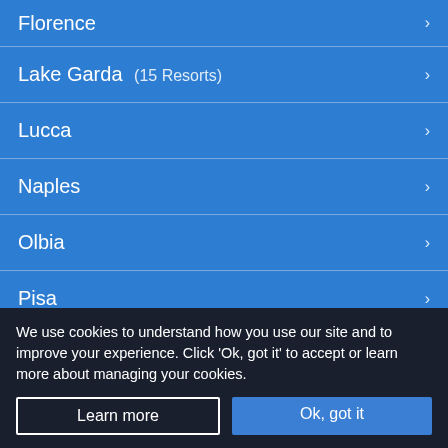Florence
Lake Garda (15 Resorts)
Lucca
Naples
Olbia
Pisa
Rome
We use cookies to understand how you use our site and to improve your experience. Click 'Ok, got it' to accept or learn more about managing your cookies.
Learn more
Ok, got it